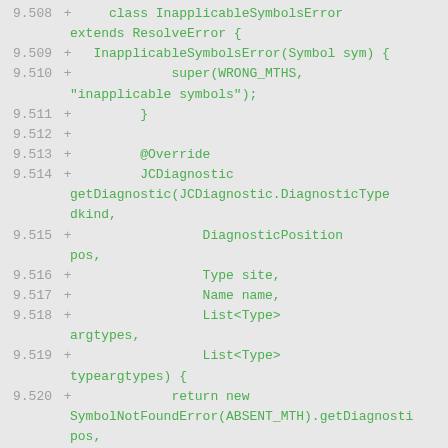[Figure (screenshot): Code diff showing Java source lines 9.508–9.524, green text on light gray background, with line numbers and '+' markers indicating added lines. The code shows an InapplicableSymbolsError class extending ResolveError with a getDiagnostic method returning SymbolNotFoundError.]